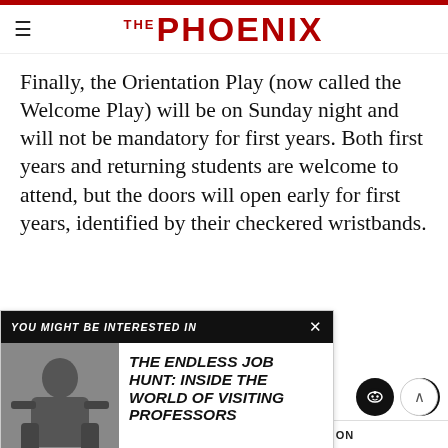THE PHOENIX
Finally, the Orientation Play (now called the Welcome Play) will be on Sunday night and will not be mandatory for first years. Both first years and returning students are welcome to attend, but the doors will open early for first years, identified by their checkered wristbands.
[Figure (screenshot): YOU MIGHT BE INTERESTED IN promotional card with article title THE ENDLESS JOB HUNT: INSIDE THE WORLD OF VISITING PROFESSORS and a black-and-white photo]
ASAP   DEANS   DEANS OFFICE   ORIENTATION